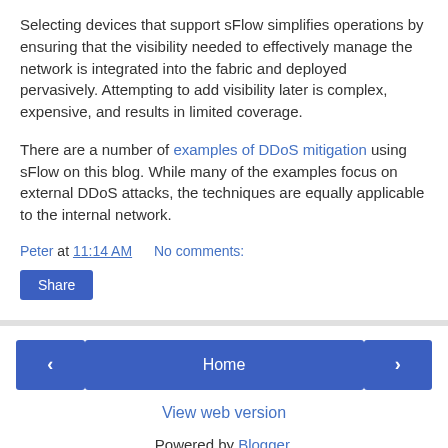Selecting devices that support sFlow simplifies operations by ensuring that the visibility needed to effectively manage the network is integrated into the fabric and deployed pervasively. Attempting to add visibility later is complex, expensive, and results in limited coverage.
There are a number of examples of DDoS mitigation using sFlow on this blog. While many of the examples focus on external DDoS attacks, the techniques are equally applicable to the internal network.
Peter at 11:14 AM   No comments:
Share
< Home > View web version Powered by Blogger.